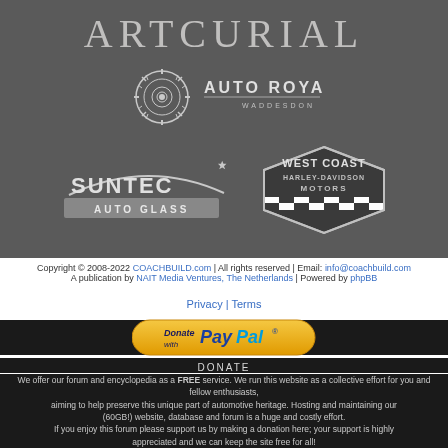[Figure (logo): Artcurial logo text in light gray on dark gray background]
[Figure (logo): Auto Royale Waddesdon logo with circular emblem on dark gray background]
[Figure (logo): Suntec Auto Glass logo on dark gray background]
[Figure (logo): West Coast Harley-Davidson Motors logo on dark gray background]
Copyright © 2008-2022 COACHBUILD.com | All rights reserved | Email: info@coachbuild.com
A publication by NAIT Media Ventures, The Netherlands | Powered by phpBB
Privacy | Terms
[Figure (logo): Donate with PayPal button]
DONATE
We offer our forum and encyclopedia as a FREE service. We run this website as a collective effort for you and fellow enthusiasts, aiming to help preserve this unique part of automotive heritage. Hosting and maintaining our (60GB!) website, database and forum is a huge and costly effort. If you enjoy this forum please support us by making a donation here; your support is highly appreciated and we can keep the site free for all!